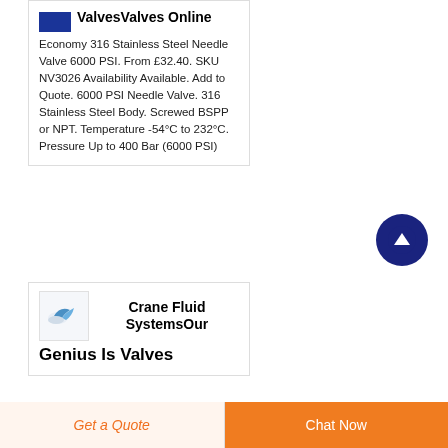ValvesValves Online
Economy 316 Stainless Steel Needle Valve 6000 PSI. From £32.40. SKU NV3026 Availability Available. Add to Quote. 6000 PSI Needle Valve. 316 Stainless Steel Body. Screwed BSPP or NPT. Temperature -54°C to 232°C. Pressure Up to 400 Bar (6000 PSI)
[Figure (logo): Crane Fluid Systems logo – small bird/crane icon]
Crane Fluid SystemsOur Genius Is Valves
Get a Quote
Chat Now